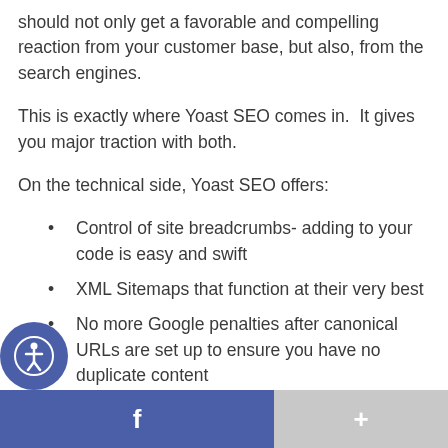should not only get a favorable and compelling reaction from your customer base, but also, from the search engines.
This is exactly where Yoast SEO comes in.  It gives you major traction with both.
On the technical side, Yoast SEO offers:
Control of site breadcrumbs- adding to your code is easy and swift
XML Sitemaps that function at their very best
No more Google penalties after canonical URLs are set up to ensure you have no duplicate content
Better branding through title and meta description templates – These are what the Search Engines